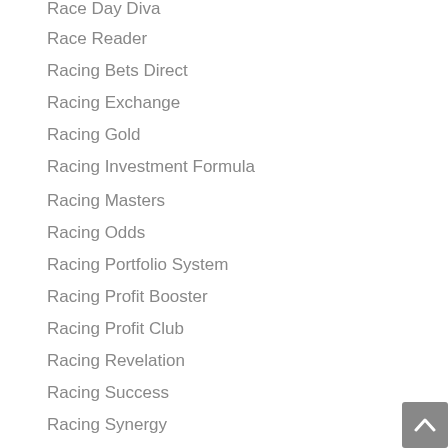Race Day Diva
Race Reader
Racing Bets Direct
Racing Exchange
Racing Gold
Racing Investment Formula
Racing Masters
Racing Odds
Racing Portfolio System
Racing Profit Booster
Racing Profit Club
Racing Revelation
Racing Success
Racing Synergy